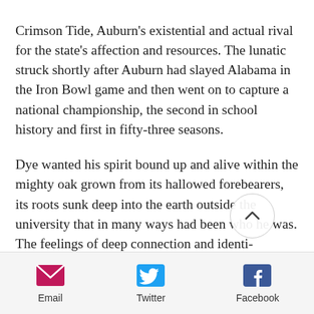Crimson Tide, Auburn's existential and actual rival for the state's affection and resources. The lunatic struck shortly after Auburn had slayed Alabama in the Iron Bowl game and then went on to capture a national championship, the second in school history and first in fifty-three seasons.
Dye wanted his spirit bound up and alive within the mighty oak grown from its hallowed forebearers, its roots sunk deep into the earth outside the university that in many ways had been who he was. The feelings of deep connection and identi embodied by the actions of Pat Dye a what infuse college football with its special
[Figure (other): Social sharing toolbar with Email, Twitter, and Facebook icons]